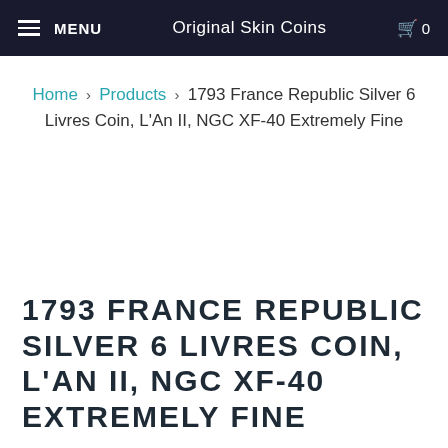MENU | Original Skin Coins | 0
Home > Products > 1793 France Republic Silver 6 Livres Coin, L'An II, NGC XF-40 Extremely Fine
1793 FRANCE REPUBLIC SILVER 6 LIVRES COIN, L'AN II, NGC XF-40 EXTREMELY FINE